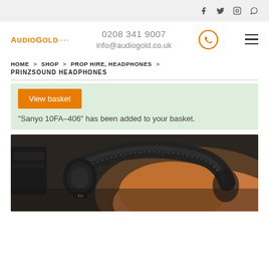Social icons: Facebook, Twitter, Instagram, WhatsApp
[Figure (logo): AudioGold logo in orange text with dots]
0208 341 9007
info@audiogold.co.uk
HOME > SHOP > PROP HIRE, HEADPHONES > PRINZSOUND HEADPHONES
"Sanyo 10FA-406" has been added to your basket.
[Figure (photo): Close-up photo of dark leather headphones being worn, with vintage audio equipment visible in the background]